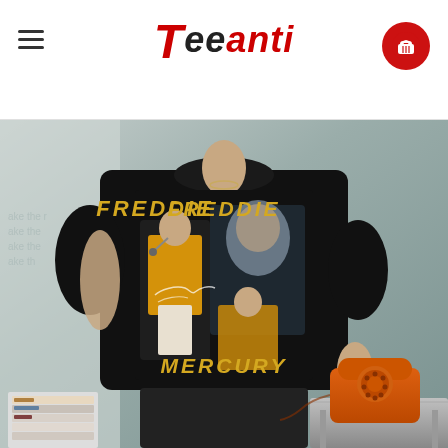Teeanti — navigation header with hamburger menu and cart icon
[Figure (photo): A person wearing a black Freddie Mercury vintage-style graphic t-shirt. The shirt features 'FREDDIE' text at the top and 'MERCURY' at the bottom in gold/yellow lettering, with performance images of Freddie Mercury in his iconic yellow jacket. The model is standing in a room with vinyl records stacked on the left and an orange retro telephone on a metal surface to the right. Background wall has faint repeating text.]